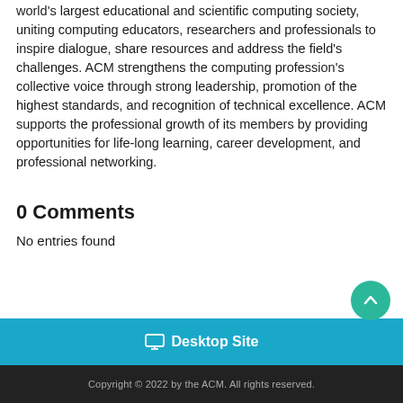world's largest educational and scientific computing society, uniting computing educators, researchers and professionals to inspire dialogue, share resources and address the field's challenges. ACM strengthens the computing profession's collective voice through strong leadership, promotion of the highest standards, and recognition of technical excellence. ACM supports the professional growth of its members by providing opportunities for life-long learning, career development, and professional networking.
0 Comments
No entries found
Desktop Site
Copyright © 2022 by the ACM. All rights reserved.